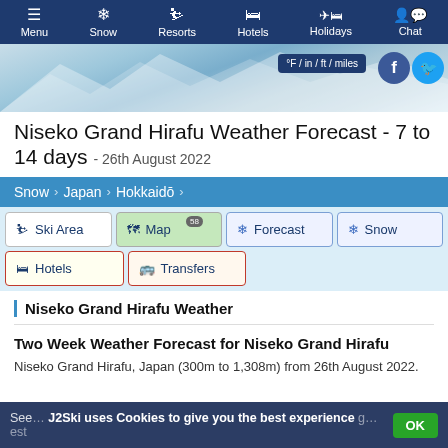Menu | Snow | Resorts | Hotels | Holidays | Chat
Niseko Grand Hirafu Weather Forecast - 7 to 14 days - 26th August 2022
°F / in / ft / miles
Snow > Japan > Hokkaidō
Ski Area | Map 58 | Forecast | Snow | Hotels | Transfers
Niseko Grand Hirafu Weather
Two Week Weather Forecast for Niseko Grand Hirafu
Niseko Grand Hirafu, Japan (300m to 1,308m) from 26th August 2022.
J2Ski uses Cookies to give you the best experience
See ... g ... est
OK